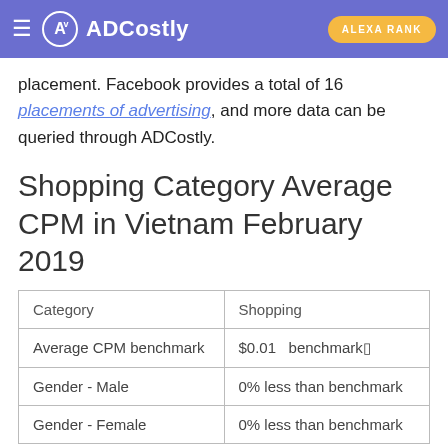ADCostly | ALEXA RANK
placement. Facebook provides a total of 16 placements of advertising, and more data can be queried through ADCostly.
Shopping Category Average CPM in Vietnam February 2019
| Category | Shopping |
| --- | --- |
| Average CPM benchmark | $0.01   benchmark🔖 |
| Gender - Male | 0% less than benchmark |
| Gender - Female | 0% less than benchmark |